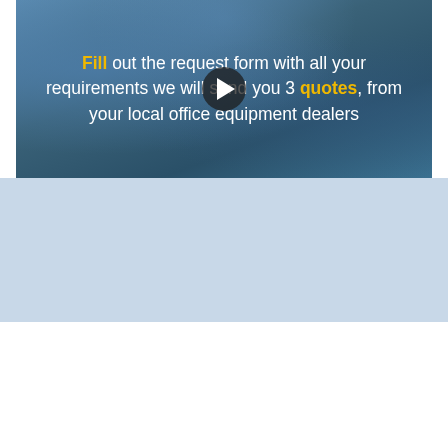[Figure (screenshot): Video thumbnail showing an office scene with a blue overlay. Text overlay reads: 'Fill out the request form with all your requirements we will send you 3 quotes, from your local office equipment dealers'. A play button is centered on the image. 'Fill' and 'quotes' are highlighted in gold/yellow bold text.]